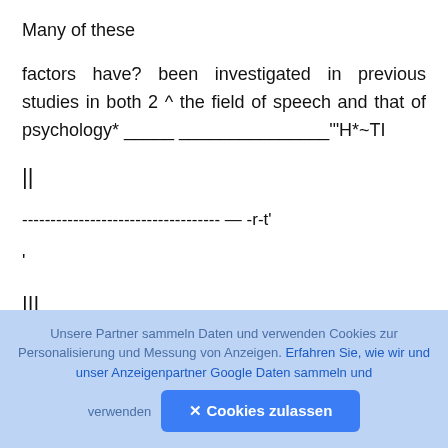Many of these
factors have? been investigated in previous studies in both 2 ^ the field of speech and that of psychology* _____ _______________'"H*~TI
||
----------------------------------- — -r-t'
'
[Figure (other): Dark rounded square button with a circled arrow (upload/scroll-to-top) icon]
|||
Unsere Partner sammeln Daten und verwenden Cookies zur Personalisierung und Messung von Anzeigen. Erfahren Sie, wie wir und unser Anzeigenpartner Google Daten sammeln und verwenden  ✕ Cookies zulassen